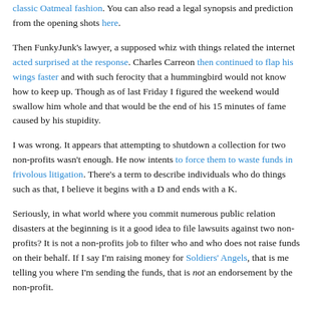classic Oatmeal fashion.  You can also read a legal synopsis and prediction from the opening shots here.
Then FunkyJunk's lawyer, a supposed whiz with things related the internet acted surprised at the response.  Charles Carreon then continued to flap his wings faster and with such ferocity that a hummingbird would not know how to keep up.  Though as of last Friday I figured the weekend would swallow him whole and that would be the end of his 15 minutes of fame caused by his stupidity.
I was wrong.  It appears that attempting to shutdown a collection for two non-profits wasn't enough.  He now intents to force them to waste funds in frivolous litigation.  There's a term to describe individuals who do things such as that, I believe it begins with a D and ends with a K.
Seriously, in what world where you commit numerous public relation disasters at the beginning is it a good idea to file lawsuits against two non-profits?  It is not a non-profits job to filter who and who does not raise funds on their behalf.  If I say I'm raising money for Soldiers' Angels, that is me telling you where I'm sending the funds, that is not an endorsement by the non-profit.